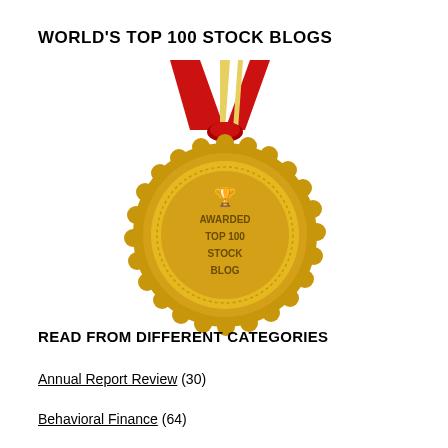WORLD'S TOP 100 STOCK BLOGS
[Figure (illustration): Gold award medal with red and gold ribbon/lanyard on top. The medal has a scalloped/starburst edge design in gold color. In the center of the medal is a trophy icon above text reading 'AWARDED TOP 100 STOCK BLOG'. A shadow appears beneath the medal.]
READ FROM DIFFERENT CATEGORIES
Annual Report Review (30)
Behavioral Finance (64)